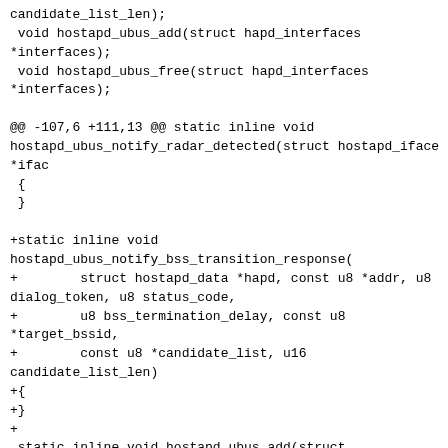candidate_list_len);
 void hostapd_ubus_add(struct hapd_interfaces
*interfaces);
 void hostapd_ubus_free(struct hapd_interfaces
*interfaces);

@@ -107,6 +111,13 @@ static inline void
hostapd_ubus_notify_radar_detected(struct hostapd_iface
*ifac
 {
 }

+static inline void
hostapd_ubus_notify_bss_transition_response(
+        struct hostapd_data *hapd, const u8 *addr, u8
dialog_token, u8 status_code,
+        u8 bss_termination_delay, const u8
*target_bssid,
+        const u8 *candidate_list, u16
candidate_list_len)
+{
+}
+
 static inline void hostapd_ubus_add(struct
hapd_interfaces *interfaces)
 {
 }
--
2.33.0